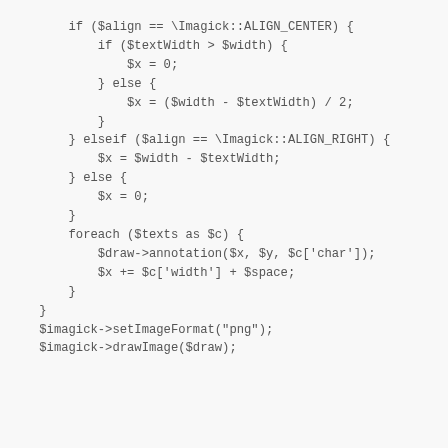if ($align == \Imagick::ALIGN_CENTER) {
    if ($textWidth > $width) {
        $x = 0;
    } else {
        $x = ($width - $textWidth) / 2;
    }
} elseif ($align == \Imagick::ALIGN_RIGHT) {
    $x = $width - $textWidth;
} else {
    $x = 0;
}
foreach ($texts as $c) {
    $draw->annotation($x, $y, $c['char']);
    $x += $c['width'] + $space;
}
}
$imagick->setImageFormat("png");
$imagick->drawImage($draw);